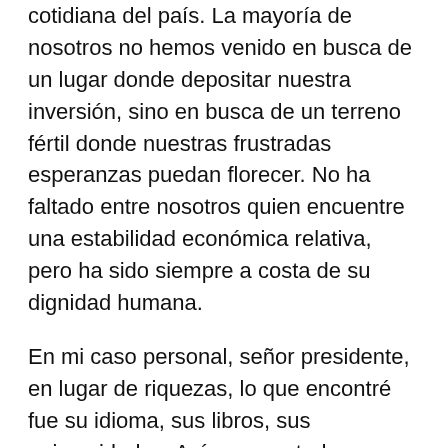cotidiana del país. La mayoría de nosotros no hemos venido en busca de un lugar donde depositar nuestra inversión, sino en busca de un terreno fértil donde nuestras frustradas esperanzas puedan florecer. No ha faltado entre nosotros quien encuentre una estabilidad económica relativa, pero ha sido siempre a costa de su dignidad humana.
En mi caso personal, señor presidente, en lugar de riquezas, lo que encontré fue su idioma, sus libros, sus universidades. Así como usted, en Chicago conocí a mi esposa, y fue en esta bella ciudad donde mi hija nació. Chicago me brindó la oportunidad de reinventar mi vida y ahora, más de 20 años después de haber llegado aquí, sigo con el anhelo de hacer de esta ciudad un verdadero hogar.
Hacia finales del verano, presidente Obama,